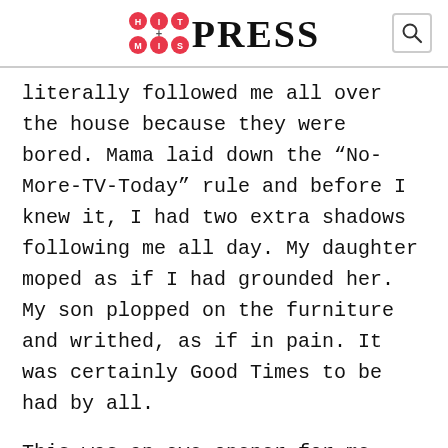HIT+MISS PRESS
literally followed me all over the house because they were bored. Mama laid down the “No-More-TV-Today” rule and before I knew it, I had two extra shadows following me all day. My daughter moped as if I had grounded her. My son plopped on the furniture and writhed, as if in pain. It was certainly Good Times to be had by all.
This was an eye-opener for me. I’ve had these mini-revelations before, but here it was again slapping me in the face: my kids have no skills outside of what they can do